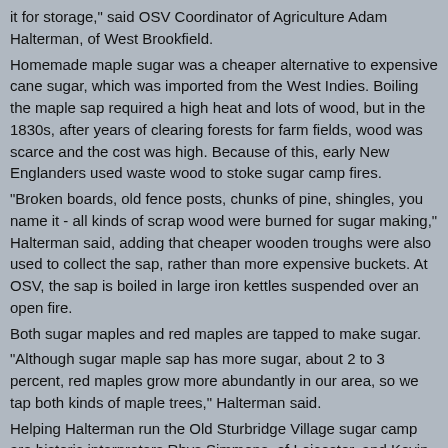it for storage," said OSV Coordinator of Agriculture Adam Halterman, of West Brookfield.
Homemade maple sugar was a cheaper alternative to expensive cane sugar, which was imported from the West Indies. Boiling the maple sap required a high heat and lots of wood, but in the 1830s, after years of clearing forests for farm fields, wood was scarce and the cost was high. Because of this, early New Englanders used waste wood to stoke sugar camp fires.
"Broken boards, old fence posts, chunks of pine, shingles, you name it - all kinds of scrap wood were burned for sugar making," Halterman said, adding that cheaper wooden troughs were also used to collect the sap, rather than more expensive buckets. At OSV, the sap is boiled in large iron kettles suspended over an open fire.
Both sugar maples and red maples are tapped to make sugar.
"Although sugar maple sap has more sugar, about 2 to 3 percent, red maples grow more abundantly in our area, so we tap both kinds of maple trees," Halterman said.
Helping Halterman run the Old Sturbridge Village sugar camp are historic interpreters Rhys Simmons, of Leicester, and Kevin Fountain, of Warren.
"Most people equate the smell of spring with flowers, but for us it's the smell of wood smoke and maple syrup. That's the surest sign that spring is coming," said Halterman.
Old Sturbridge Village celebrates New England life in the 1830s and is open Tuesday through Sunday from 9:30 a.m. to 4 p.m. Admission is $20; seniors, $18; children 3 to 17, $6; children under 3, free. For